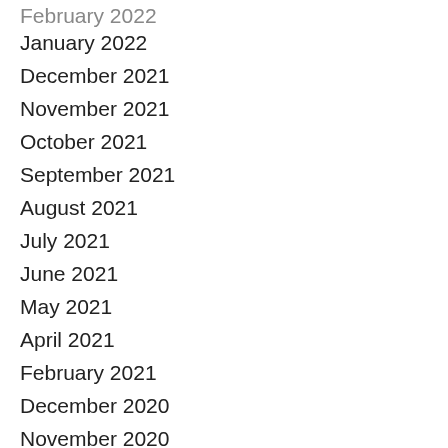February 2022
January 2022
December 2021
November 2021
October 2021
September 2021
August 2021
July 2021
June 2021
May 2021
April 2021
February 2021
December 2020
November 2020
October 2020
September 2020